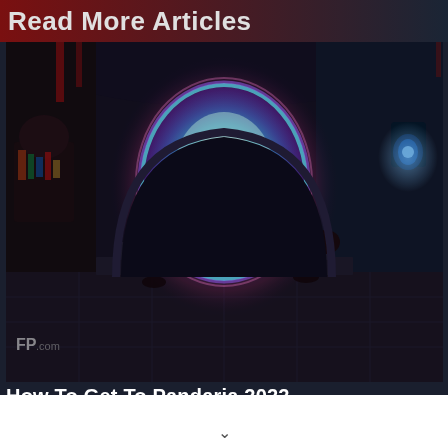Read More Articles
[Figure (screenshot): World of Warcraft game screenshot showing a glowing magical portal in a dark dungeon room with character silhouettes. A colorful orb/portal glows in the center with teal and purple hues. Small figures flank the portal on steps. The room has stone architecture. A watermark 'FP' appears in lower left.]
How To Get To Pandaria 2022